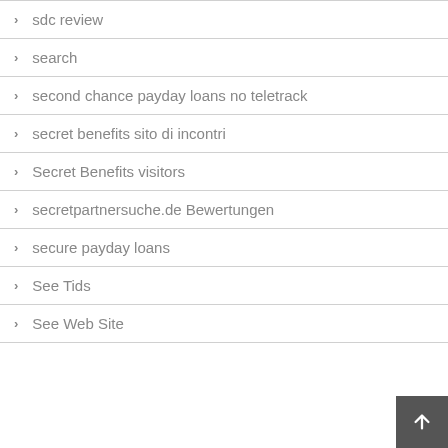sdc review
search
second chance payday loans no teletrack
secret benefits sito di incontri
Secret Benefits visitors
secretpartnersuche.de Bewertungen
secure payday loans
See Tids
See Web Site